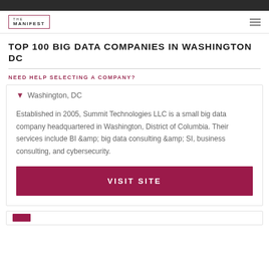TOP 100 BIG DATA COMPANIES IN WASHINGTON DC
NEED HELP SELECTING A COMPANY?
Washington, DC
Established in 2005, Summit Technologies LLC is a small big data company headquartered in Washington, District of Columbia. Their services include BI &amp; big data consulting &amp; SI, business consulting, and cybersecurity.
VISIT SITE